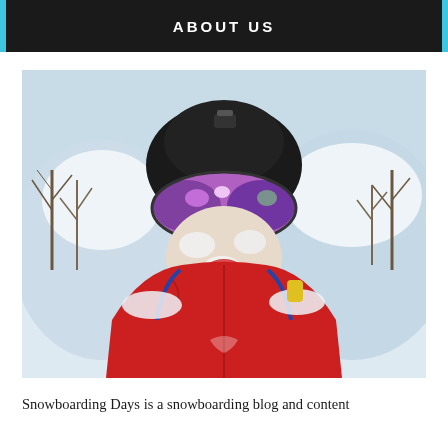ABOUT US
[Figure (photo): A snowboarder wearing a black helmet with a GoPro camera mounted on top, colorful iridescent goggles, and a red jacket. Their face is covered in snow and they are smiling/laughing with mouth open. Winter snowy mountain background with bare trees and ski slope visible.]
Snowboarding Days is a snowboarding blog and content